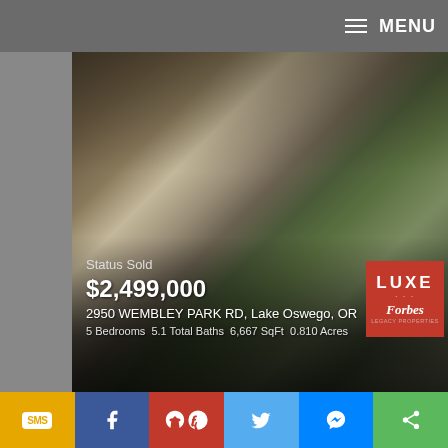MENU
[Figure (photo): Exterior photo of a large grey craftsman-style home with lush landscaping and glowing lights at dusk]
Status Sold
$2,499,000
2950 WEMBLEY PARK RD, Lake Oswego, OR
5 Bedrooms  5.1 Total Baths  6,667 SqFt  0.810 Acres
[Figure (photo): Exterior photo of a large brick and white French country estate home with a colorful tree in autumn and lush green surroundings]
Status Sold
$2,495,000
1190 FAIRWAY RD, Lake Oswego, OR
4 Bedrooms  4.1 Total Baths  5,855 SqFt  2.250 Acres
SMS | Facebook | Pinterest | Twitter | Messenger | Share